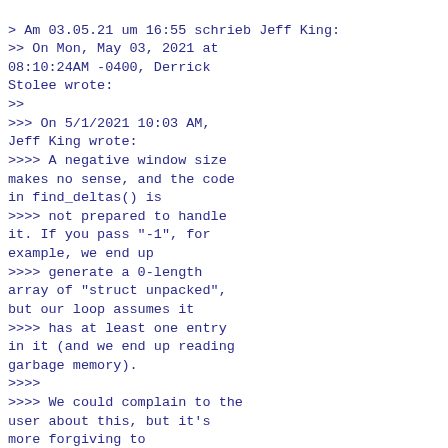> Am 03.05.21 um 16:55 schrieb Jeff King:
>> On Mon, May 03, 2021 at 08:10:24AM -0400, Derrick Stolee wrote:
>>
>>> On 5/1/2021 10:03 AM, Jeff King wrote:
>>>> A negative window size makes no sense, and the code in find_deltas() is
>>>> not prepared to handle it. If you pass "-1", for example, we end up
>>>> generate a 0-length array of "struct unpacked", but our loop assumes it
>>>> has at least one entry in it (and we end up reading garbage memory).
>>>>
>>>> We could complain to the user about this, but it's more forgiving to
>>>> just clamp it to 0, which means "do not find any deltas at all". The
>>>> 0-case is already tested earlier in the script, so